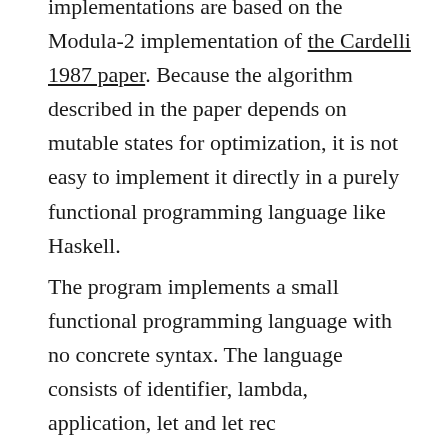implementations are based on the Modula-2 implementation of the Cardelli 1987 paper. Because the algorithm described in the paper depends on mutable states for optimization, it is not easy to implement it directly in a purely functional programming language like Haskell.
The program implements a small functional programming language with no concrete syntax. The language consists of identifier, lambda, application, let and let rec